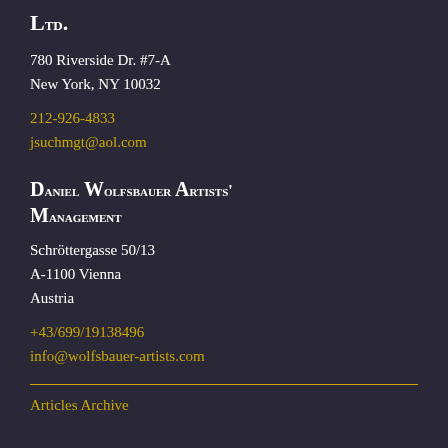Ltd.
780 Riverside Dr. #7-A
New York, NY 10032
212-926-4833
jsuchmgt@aol.com
Daniel Wolfsbauer Artists' Management
Schröttergasse 50/13
A-1100 Vienna
Austria
+43/699/19138496
info@wolfsbauer-artists.com
Articles Archive